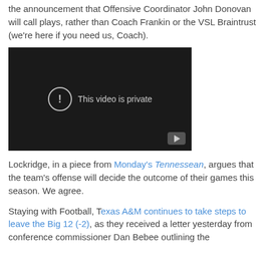the announcement that Offensive Coordinator John Donovan will call plays, rather than Coach Frankin or the VSL Braintrust (we're here if you need us, Coach).
[Figure (screenshot): A dark video player showing 'This video is private' message with an exclamation mark icon and a YouTube play button in the bottom right corner.]
Lockridge, in a piece from Monday's Tennessean, argues that the team's offense will decide the outcome of their games this season. We agree.
Staying with Football, Texas A&M continues to take steps to leave the Big 12 (-2), as they received a letter yesterday from conference commissioner Dan Bebee outlining the